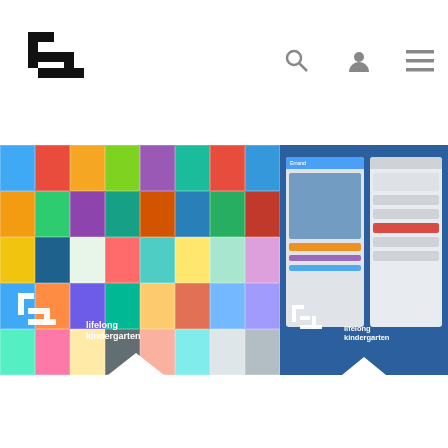Lifelong Kindergarten — navigation header with logo, search, user, and menu icons
[Figure (screenshot): Hero banner with two panels: left shows a colorful grid of Scratch project thumbnails with Lifelong Kindergarten logo overlay; right shows a blue-background screenshot of the Scratch online community interface with Lifelong Kindergarten logo overlay. Downward arrow indicators at bottom of each panel.]
Research
Scratch Online Community
Launched in 2007, the Scratch Online Community
Research
Getting Started with Scratch
Every day, young people around the world use the